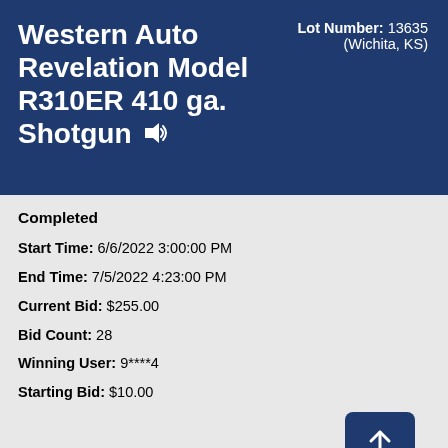Western Auto Revelation Model R310ER 410 ga. Shotgun
Lot Number: 13635 (Wichita, KS)
Completed
Start Time: 6/6/2022 3:00:00 PM
End Time: 7/5/2022 4:23:00 PM
Current Bid: $255.00
Bid Count: 28
Winning User: 9****4
Starting Bid: $10.00
Bid Increment: $5.00
Bidding complete